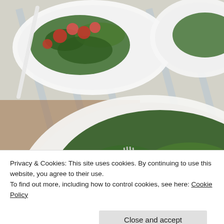[Figure (photo): Two white bowls of kale salad with tomatoes, chicken, nuts, and a fork, photographed from above on a striped linen cloth and wooden surface]
Privacy & Cookies: This site uses cookies. By continuing to use this website, you agree to their use.
To find out more, including how to control cookies, see here: Cookie Policy
Close and accept
[Figure (photo): Partial view of a salad bowl at the bottom of the page]